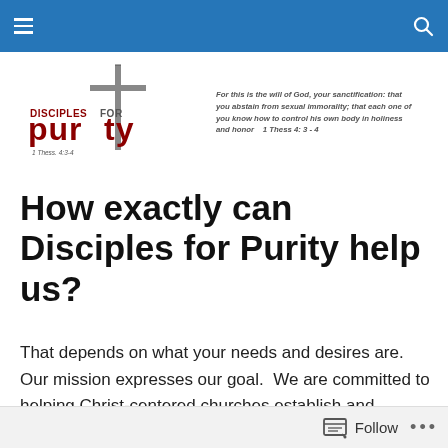Navigation bar with hamburger menu and search icon
[Figure (logo): Disciples for Purity logo with cross graphic, text 'DISCIPLES FOR purity 1 Thess. 4:3-4' and tagline: 'For this is the will of God, your sanctification: that you abstain from sexual immorality; that each one of you know how to control his own body in holiness and honor  1 Thess 4: 3 - 4']
How exactly can Disciples for Purity help us?
That depends on what your needs and desires are.  Our mission expresses our goal.  We are committed to helping Christ-centered churches establish and maintain vibrant, effective, God-honoring sexual purity ministries for men to
Follow ...